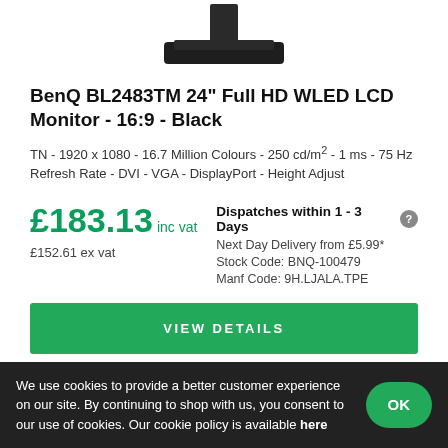[Figure (photo): Bottom portion of a BenQ monitor showing the stand and base on a white background]
BenQ BL2483TM 24" Full HD WLED LCD Monitor - 16:9 - Black
TN - 1920 x 1080 - 16.7 Million Colours - 250 cd/m² - 1 ms - 75 Hz Refresh Rate - DVI - VGA - DisplayPort - Height Adjust
£183.13 inc vat
£152.61 ex vat
Dispatches within 1 - 3 Days
Next Day Delivery from £5.99*
Stock Code: BNQ-100479
Manf Code: 9H.LJALA.TPE
VIEW DETAILS
ADD TO BASKET
We use cookies to provide a better customer experience on our site. By continuing to shop with us, you consent to our use of cookies. Our cookie policy is available here